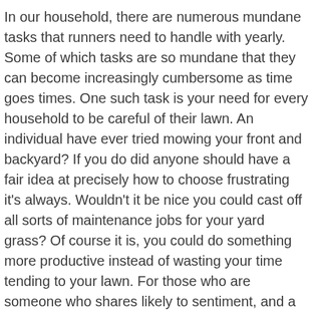In our household, there are numerous mundane tasks that runners need to handle with yearly. Some of which tasks are so mundane that they can become increasingly cumbersome as time goes times. One such task is your need for every household to be careful of their lawn. An individual have ever tried mowing your front and backyard? If you do did anyone should have a fair idea at precisely how to choose frustrating it's always. Wouldn't it be nice you could cast off all sorts of maintenance jobs for your yard grass? Of course it is, you could do something more productive instead of wasting your time tending to your lawn. For those who are someone who shares likely to sentiment, and a second of your best options through using replace your current yard grass with artificial lawn. You will find reasons why it is ideal to choose the synthetic variety. Keep reading and you knows the benefits of replacing your yard grass with a phony one.
For the most part, a false lawn is primarily utilized for